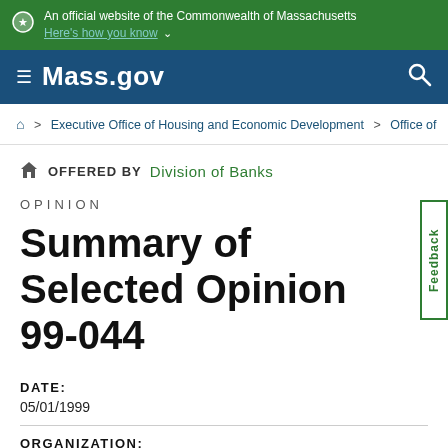An official website of the Commonwealth of Massachusetts
Here's how you know
Mass.gov
Home > Executive Office of Housing and Economic Development > Office of
OFFERED BY Division of Banks
OPINION
Summary of Selected Opinion 99-044
DATE:
05/01/1999
ORGANIZATION: